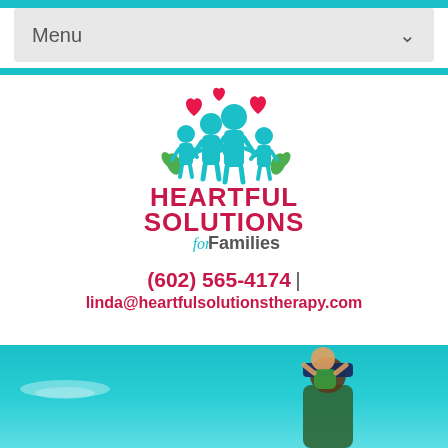Menu
[Figure (logo): Heartful Solutions for Families logo — teal family silhouettes with red hearts, red and teal text]
(602) 565-4174 | linda@heartfulsolutionstherapy.com
[Figure (photo): Photo of an adult lifting a child on their shoulders against a bright teal sky]